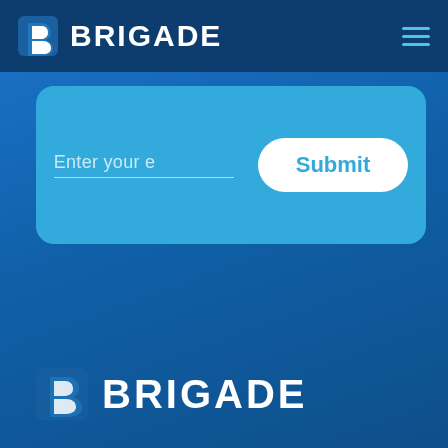[Figure (logo): Brigade logo with stylized B icon and BRIGADE text in white on dark navy navigation bar]
[Figure (screenshot): Email input form on light blue card with text field 'Enter your e' and white Submit button]
[Figure (logo): Brigade logo with stylized B icon and BRIGADE text in white at the bottom of the page on blue background]